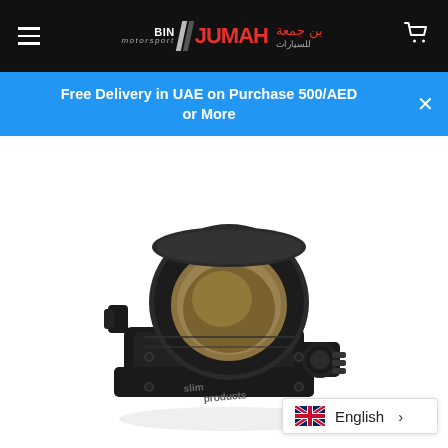Bin Jumah Motorsport - Navigation header with logo and cart
Free Delivery in UAE on Purchase 500/AED or More
[Figure (photo): Black anodized aluminum throttle body with large circular bore, branded 'Slim Products', featuring machined finish and mechanical linkage, photographed on white background]
English